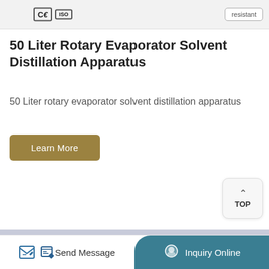[Figure (photo): Top strip showing CE and ISO certification badges and a 'resistant' label box, with a partial product image]
50 Liter Rotary Evaporator Solvent Distillation Apparatus
50 Liter rotary evaporator solvent distillation apparatus
[Figure (photo): Partial product photograph showing glass laboratory apparatus components (rotary evaporator parts) on a lavender/grey background]
Send Message   Inquiry Online